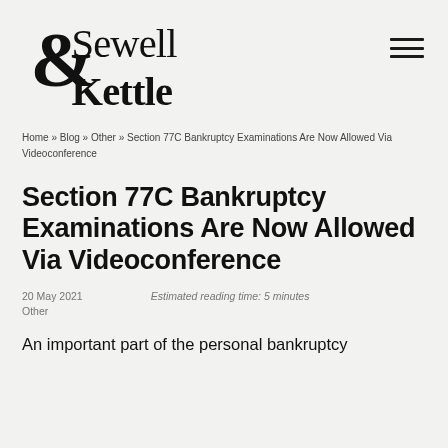[Figure (logo): Sewell & Kettle law firm logo in black serif typeface]
Home » Blog » Other » Section 77C Bankruptcy Examinations Are Now Allowed Via Videoconference
Section 77C Bankruptcy Examinations Are Now Allowed Via Videoconference
20 May 2021    Estimated reading time: 5 minutes
Other
An important part of the personal bankruptcy